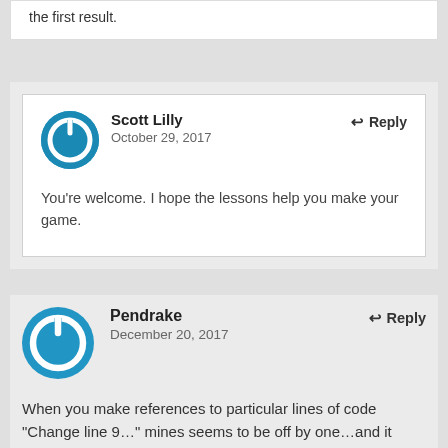the first result.
Scott Lilly
October 29, 2017
You're welcome. I hope the lessons help you make your game.
Pendrake
December 20, 2017
When you make references to particular lines of code "Change line 9…" mines seems to be off by one…and it ends up that way later also. I've taken the tutorial farther than